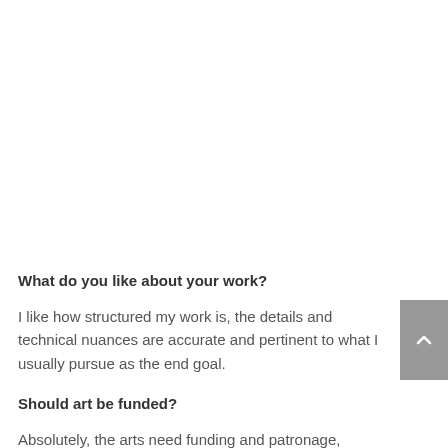What do you like about your work?
I like how structured my work is, the details and technical nuances are accurate and pertinent to what I usually pursue as the end goal.
Should art be funded?
Absolutely, the arts need funding and patronage,